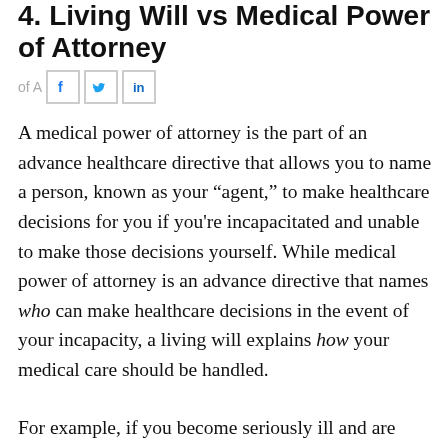4. Living Will vs Medical Power of Attorney
A medical power of attorney is the part of an advance healthcare directive that allows you to name a person, known as your “agent,” to make healthcare decisions for you if you're incapacitated and unable to make those decisions yourself. While medical power of attorney is an advance directive that names who can make healthcare decisions in the event of your incapacity, a living will explains how your medical care should be handled.
For example, if you become seriously ill and are unable to...